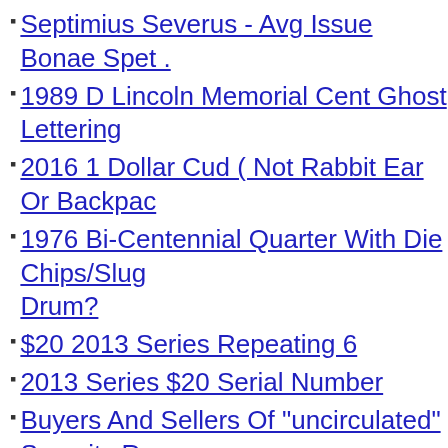Septimius Severus - Avg Issue Bonae Spet .
1989 D Lincoln Memorial Cent Ghost Lettering
2016 1 Dollar Cud ( Not Rabbit Ear Or Backpac
1976 Bi-Centennial Quarter With Die Chips/Slug Drum?
$20 2013 Series Repeating 6
2013 Series $20 Serial Number
Buyers And Sellers Of "uncirculated" Security R
On My 2000 P Dime Is That Doubling On The S Olive Branch
1954 S Wheat Cent With Unexpected Extra Ma Mark. Die Crack?
Is The Damage To This 2015 P Dime Happen A